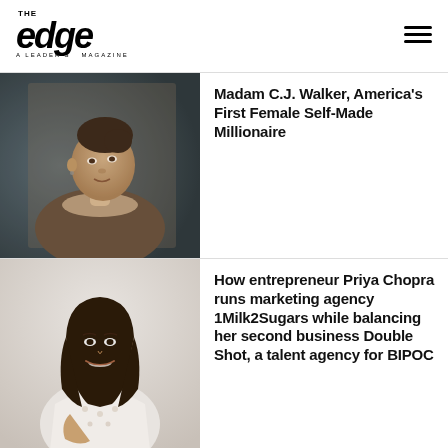[Figure (logo): The Edge - A Leader's Magazine logo with stylized italic 'edge' text]
[Figure (photo): Historical sepia portrait photograph of Madam C.J. Walker, a woman with dark hair styled up, wearing a lace-collared dress]
Madam C.J. Walker, America's First Female Self-Made Millionaire
[Figure (photo): Modern photo of entrepreneur Priya Chopra, a woman with long dark hair, wearing a white patterned top, seated and smiling]
How entrepreneur Priya Chopra runs marketing agency 1Milk2Sugars while balancing her second business Double Shot, a talent agency for BIPOC